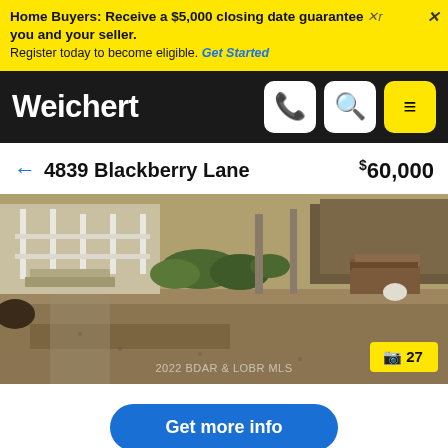Home Buyers: Receive a $5,000 closing date guarantee between you and your seller. Register today to become eligible. Get Started
Weichert
← 4839 Blackberry Lane   $60,000
[Figure (photo): Exterior yard photo of property at 4839 Blackberry Lane showing dry grass, shrubs, and structure in background. Watermark: 2022 BDAR & LOBR MLS. Photo count badge: 27]
Get more info
Bottom action buttons (icon buttons in yellow)